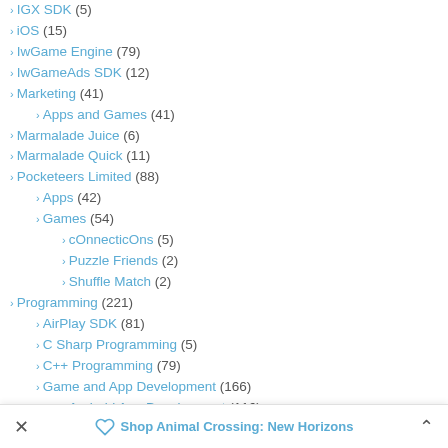IGX SDK (5)
iOS (15)
IwGame Engine (79)
IwGameAds SDK (12)
Marketing (41)
Apps and Games (41)
Marmalade Juice (6)
Marmalade Quick (11)
Pocketeers Limited (88)
Apps (42)
Games (54)
cOnnecticOns (5)
Puzzle Friends (2)
Shuffle Match (2)
Programming (221)
AirPlay SDK (81)
C Sharp Programming (5)
C++ Programming (79)
Game and App Development (166)
Android App Development (116)
BlackBerry OS 10 (19)
Shop Animal Crossing: New Horizons